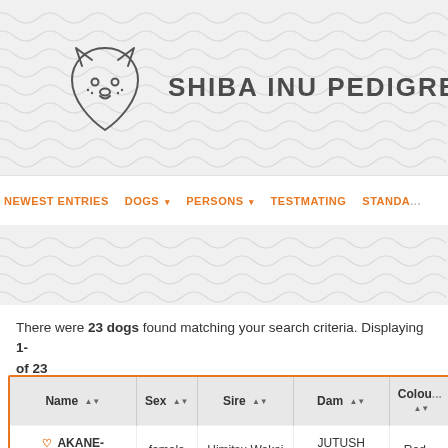[Figure (logo): Shiba Inu dog face logo icon (line art) next to text SHIBA INU PEDIGREE]
SHIBA INU PEDIGREE
NEWEST ENTRIES  DOGS ▾  PERSONS ▾  TESTMATING  STANDA...
There were 23 dogs found matching your search criteria. Displaying 1-... of 23
| Name | Sex | Sire | Dam | Colou... |
| --- | --- | --- | --- | --- |
| AKANE-HINATA | female | Himitsu Wakai | JUTUSH JASAMAN | Red... |